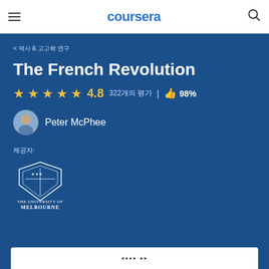coursera
< 역사 & 고고학 연구
The French Revolution
★★★★★ 4.8  322개의 평가  |  👍 98%
Peter McPhee
제공자:
[Figure (logo): University of Melbourne logo]
무료로 등록